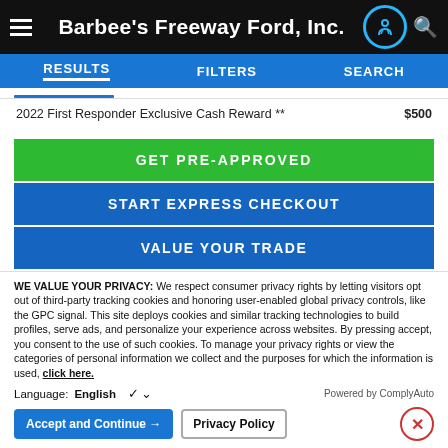Barbee's Freeway Ford, Inc.
RESULTS   FILTERS   SEARCH
2022 First Responder Exclusive Cash Reward **   $500
GET PRE-APPROVED
START EXPRESS CHECKOUT
VALUE YOUR TRADE
WE VALUE YOUR PRIVACY: We respect consumer privacy rights by letting visitors opt out of third-party tracking cookies and honoring user-enabled global privacy controls, like the GPC signal. This site deploys cookies and similar tracking technologies to build profiles, serve ads, and personalize your experience across websites. By pressing accept, you consent to the use of such cookies. To manage your privacy rights or view the categories of personal information we collect and the purposes for which the information is used, click here.
Language:   English   ∨   Powered by ComplyAuto
Accept and Continue →   Privacy Policy   ×